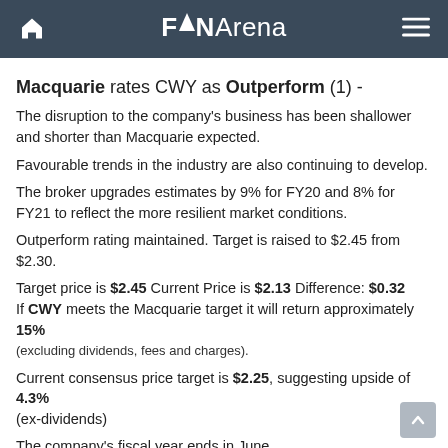FNArena
Macquarie rates CWY as Outperform (1) -
The disruption to the company's business has been shallower and shorter than Macquarie expected.
Favourable trends in the industry are also continuing to develop.
The broker upgrades estimates by 9% for FY20 and 8% for FY21 to reflect the more resilient market conditions.
Outperform rating maintained. Target is raised to $2.45 from $2.30.
Target price is $2.45 Current Price is $2.13 Difference: $0.32
If CWY meets the Macquarie target it will return approximately 15%
(excluding dividends, fees and charges).
Current consensus price target is $2.25, suggesting upside of 4.3%
(ex-dividends)
The company's fiscal year ends in June.
Forecast for FY20:
Macquarie forecasts a full year FY20 dividend of 3.80 cents and EPS of 7.60 cents.
At the last closing share price the estimated dividend yield is